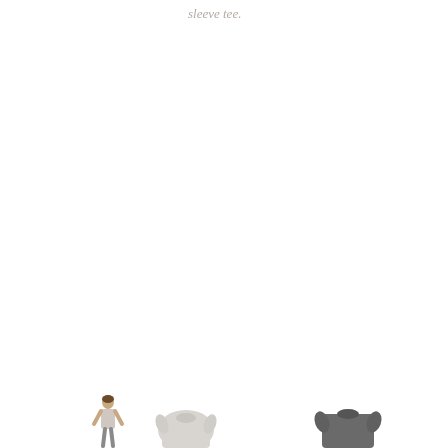sleeve tee.
[Figure (photo): Partial view of product page showing bottom portion with small images of a person wearing a tee shirt, a folded light gray t-shirt, and a folded dark gray t-shirt at the bottom of the page.]